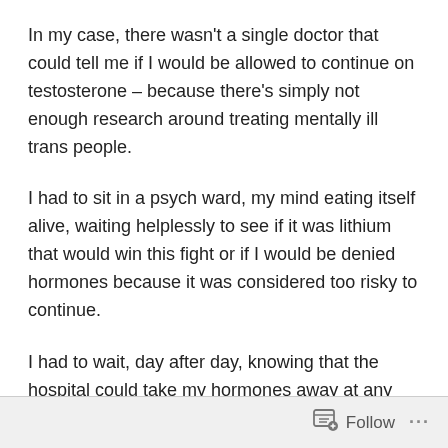In my case, there wasn't a single doctor that could tell me if I would be allowed to continue on testosterone – because there's simply not enough research around treating mentally ill trans people.
I had to sit in a psych ward, my mind eating itself alive, waiting helplessly to see if it was lithium that would win this fight or if I would be denied hormones because it was considered too risky to continue.
I had to wait, day after day, knowing that the hospital could take my hormones away at any time.
Thankfully, it was lithium that won out, this time.
But I quickly learned that even the best psychiatrists
Follow ...